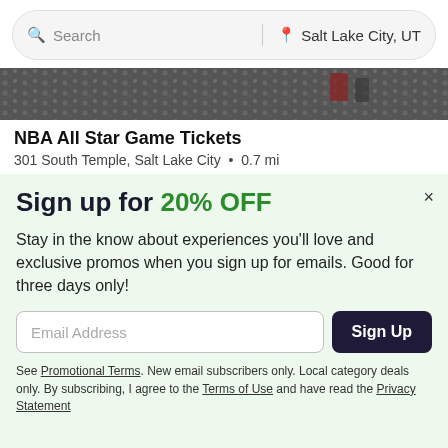Search | Salt Lake City, UT
[Figure (photo): Hero image of a crowded sports event venue from above, showing spectators in stands]
NBA All Star Game Tickets
301 South Temple, Salt Lake City • 0.7 mi
Sign up for 20% OFF
Stay in the know about experiences you'll love and exclusive promos when you sign up for emails. Good for three days only!
Email Address [input field] Sign Up [button]
See Promotional Terms. New email subscribers only. Local category deals only. By subscribing, I agree to the Terms of Use and have read the Privacy Statement